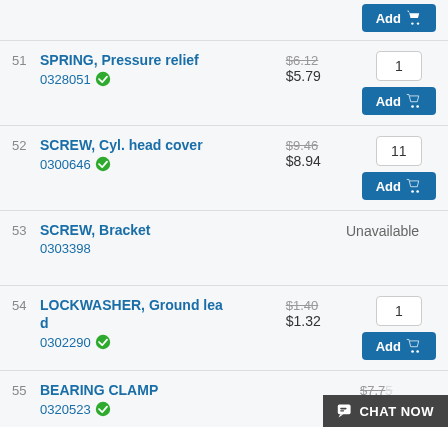Add (top, partial)
51 SPRING, Pressure relief 0328051 $6.12 $5.79 qty:1 Add
52 SCREW, Cyl. head cover 0300646 $9.46 $8.94 qty:11 Add
53 SCREW, Bracket 0303398 Unavailable
54 LOCKWASHER, Ground lead 0302290 $1.40 $1.32 qty:1 Add
55 BEARING CLAMP 0320523 $7.75 $7.36